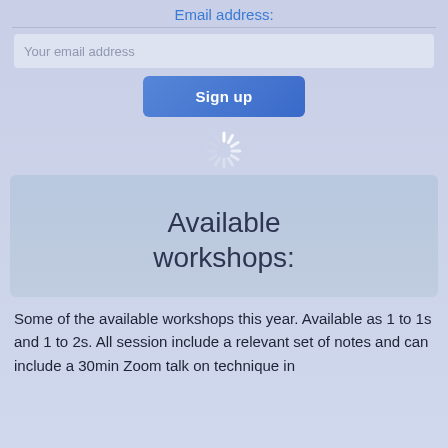Email address:
Your email address
Sign up
[Figure (infographic): A loading spinner icon shown in white/light grey lines radiating from a center point, indicating a loading state.]
Available workshops:
Some of the available workshops this year. Available as 1 to 1s and 1 to 2s. All session include a relevant set of notes and can include a 30min Zoom talk on technique in